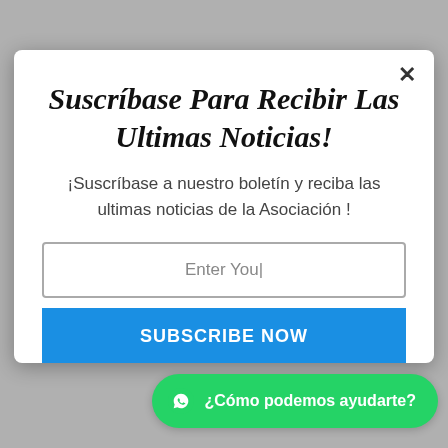Suscríbase Para Recibir Las Ultimas Noticias!
¡Suscríbase a nuestro boletín y reciba las ultimas noticias de la Asociación !
Enter You|
SUBSCRIBE NOW
¿Cómo podemos ayudarte?